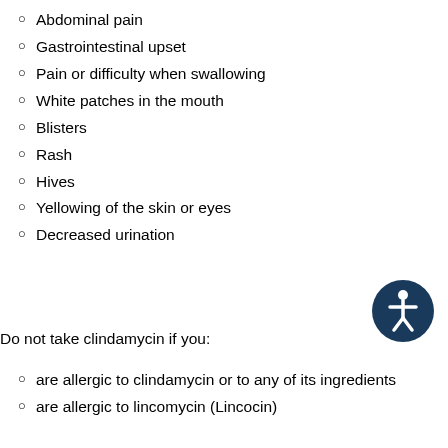Abdominal pain
Gastrointestinal upset
Pain or difficulty when swallowing
White patches in the mouth
Blisters
Rash
Hives
Yellowing of the skin or eyes
Decreased urination
[Figure (illustration): Accessibility icon: dark blue circle with white person/wheelchair symbol]
Do not take clindamycin if you:
are allergic to clindamycin or to any of its ingredients
are allergic to lincomycin (Lincocin)